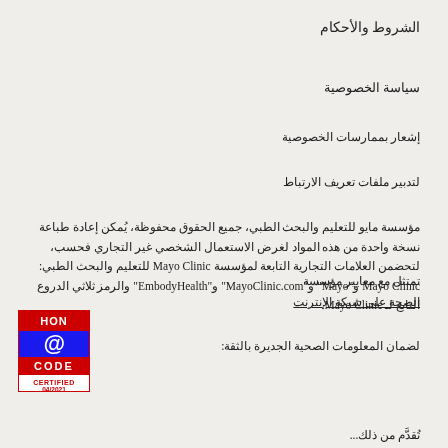الشروط والأحكام
سياسة الخصوصية
إشعار بممارسات الخصوصية
لتدبير ملفات تعريف الارتباط
مؤسسة مايو للتعليم والبحث الطبي، جميع الحقوق محفوظة، يُمكن إعادة طباعة نسخة واحدة من هذه المواد لغرض الاستعمال الشخصي غير التجاري فحسب، لتحضمن العلامات التجارية التابعة لمؤسسة Mayo Clinic للتعليم والبحث الطبي: Mayo Clinic و"Mayo" و"MayoClinic.com" و"EmbodyHealth" والرمز ثلاثي الدروع التابع لـ Mayo Clinic.
[Figure (logo): HON CODE CERTIFIED 04/2021 badge with red border and blue center]
تمتثل مع معايير مؤسسة
الصحة على شبكة الإنترنت
لضمان المعلومات الصحية الجديرة بالثقة:
تُقدّم من ذلك...